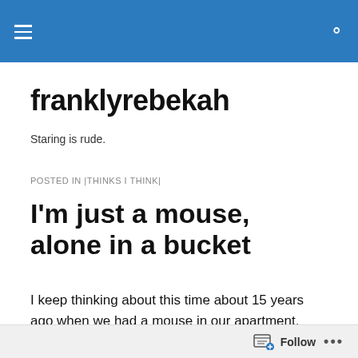[hamburger menu icon] franklyrebekah [search icon]
franklyrebekah
Staring is rude.
POSTED IN |THINKS I THINK|
I'm just a mouse, alone in a bucket
I keep thinking about this time about 15 years ago when we had a mouse in our apartment. What were we, a few twenty-somethings without the heart to hurt a mouse, to
Follow ...